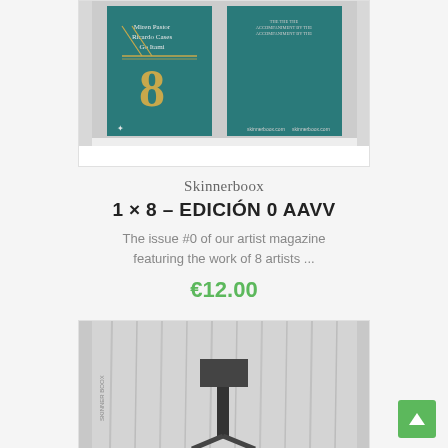[Figure (photo): Top portion of a product card showing two book/magazine covers with teal/dark green background, one featuring names 'Miren Pastor, Ricardo Cases, Go Itami' and a large number 8]
Skinnerboox
1 × 8 – EDICIÓN 0 AAVV
The issue #0 of our artist magazine featuring the work of 8 artists ...
€12.00
[Figure (photo): Bottom product card showing a black and white photo of a lamp or light fixture on a wooden background]